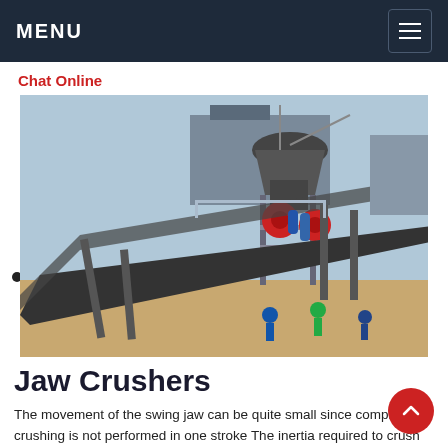MENU
Chat Online
[Figure (photo): Industrial jaw crusher and conveyor belt equipment at a mining/quarry site. Shows a large cone crusher machine mounted on a steel frame with conveyor belts below and workers visible at the bottom.]
Jaw Crushers
The movement of the swing jaw can be quite small since complete crushing is not performed in one stroke The inertia required to crush the material is provided by a flywheel that moves a shaft creating an eccentric motion that causes the closing of the gap Jaw crushers are heavy